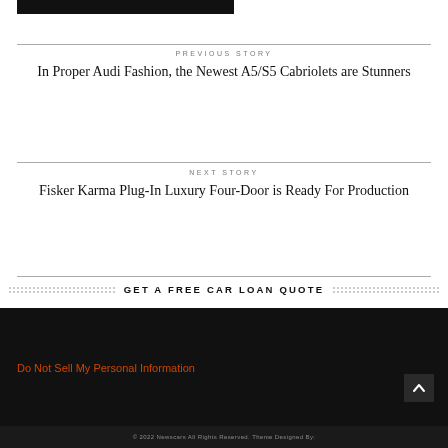[Figure (other): Dark/black rectangular image strip at the top of the page]
PREVIOUS STORY
In Proper Audi Fashion, the Newest A5/S5 Cabriolets are Stunners
NEXT STORY
Fisker Karma Plug-In Luxury Four-Door is Ready For Production
GET A FREE CAR LOAN QUOTE
Do Not Sell My Personal Information
© 2022 Newscars All Rights Reserved. Theme Designed By: